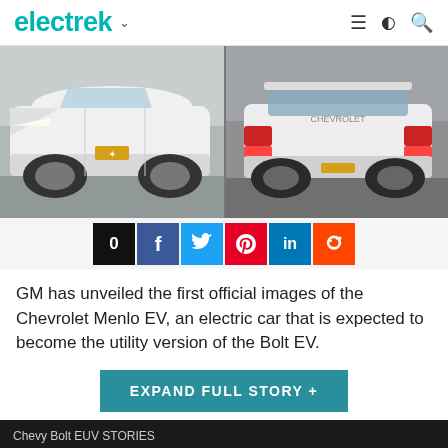electrek
[Figure (photo): Two images of the Chevrolet Menlo EV — front-left view of white SUV on left, rear view of white SUV on right, with social share buttons below]
GM has unveiled the first official images of the Chevrolet Menlo EV, an electric car that is expected to become the utility version of the Bolt EV.
EXPAND FULL STORY +
Chevy Bolt EUV STORIES
APRIL 19, 2019
GM files 'Bolt EUV' trademark –